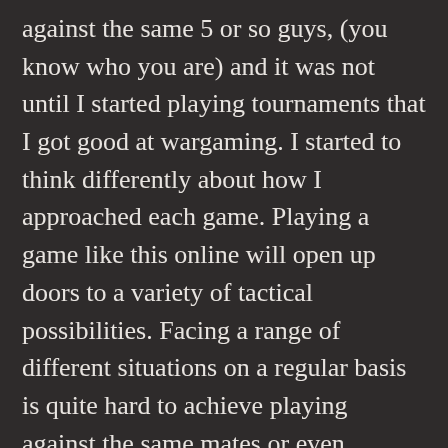against the same 5 or so guys, (you know who you are) and it was not until I started playing tournaments that I got good at wargaming. I started to think differently about how I approached each game. Playing a game like this online will open up doors to a variety of tactical possibilities. Facing a range of different situations on a regular basis is quite hard to achieve playing against the same mates or even regularly at torneys.

I have mates scattered across the globe. This wasn't always the case, but sadly it is now. Being able to catch up with them, be it virtually, for a quick wargame is something I am really looking forward to. It's not the same as sharing a beer and pushing around models